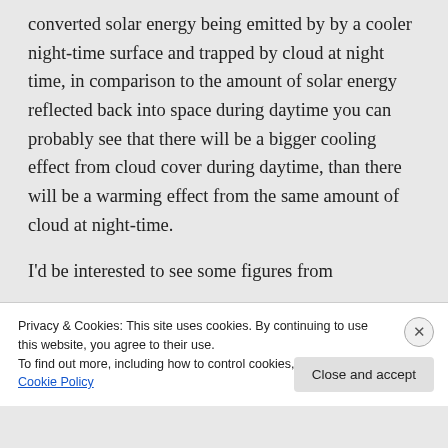converted solar energy being emitted by by a cooler night-time surface and trapped by cloud at night time, in comparison to the amount of solar energy reflected back into space during daytime you can probably see that there will be a bigger cooling effect from cloud cover during daytime, than there will be a warming effect from the same amount of cloud at night-time.
I'd be interested to see some figures from
Privacy & Cookies: This site uses cookies. By continuing to use this website, you agree to their use.
To find out more, including how to control cookies, see here: Cookie Policy